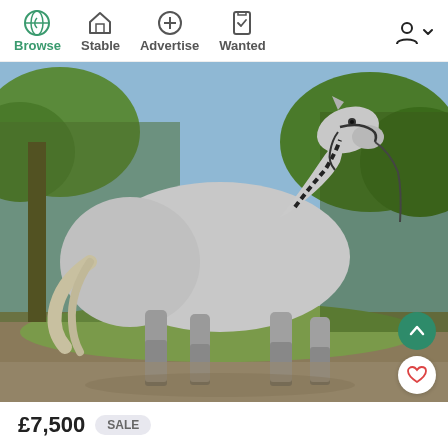Browse | Stable | Advertise | Wanted
[Figure (photo): A grey horse with braided mane and bridle, standing sideways on grass/gravel with trees and foliage in the background, viewed from the left side.]
£7,500  SALE